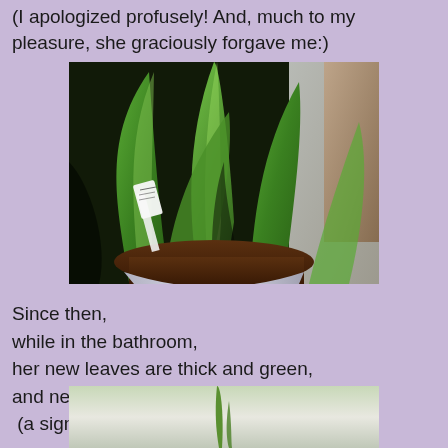(I apologized profusely! And, much to my pleasure, she graciously forgave me:)
[Figure (photo): Close-up photo of an orchid plant in a white pot with thick green leaves, showing a plant label stake, set against a light background]
Since then,
while in the bathroom,
her new leaves are thick and green,
and new blubs have been full and plump.
 (a sign of a happy orchid)
[Figure (photo): Partial view of another plant or orchid, showing the bottom portion of the image]